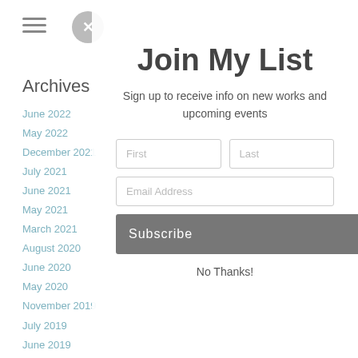Archives
June 2022
May 2022
December 2021
July 2021
June 2021
May 2021
March 2021
August 2020
June 2020
May 2020
November 2019
July 2019
June 2019
March 2019
February 2019
January 2019
Join My List
Sign up to receive info on new works and upcoming events
First
Last
Email Address
Subscribe
No Thanks!